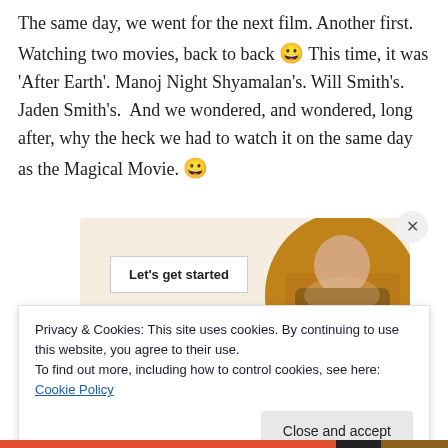The same day, we went for the next film. Another first. Watching two movies, back to back 😀 This time, it was 'After Earth'. Manoj Night Shyamalan's. Will Smith's. Jaden Smith's.  And we wondered, and wondered, long after, why the heck we had to watch it on the same day as the Magical Movie. 😀
[Figure (photo): Advertisement image with a beige background showing a 'Let's get started' button and a circular cropped photo of a person in an orange/brown sweater holding a tablet or phone.]
Privacy & Cookies: This site uses cookies. By continuing to use this website, you agree to their use.
To find out more, including how to control cookies, see here: Cookie Policy
Close and accept